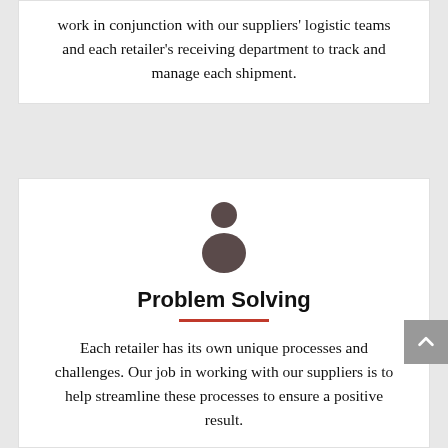work in conjunction with our suppliers' logistic teams and each retailer's receiving department to track and manage each shipment.
[Figure (illustration): A simple person/user silhouette icon in dark brownish-gray color, consisting of a circle for the head and a rounded body shape below.]
Problem Solving
Each retailer has its own unique processes and challenges. Our job in working with our suppliers is to help streamline these processes to ensure a positive result.